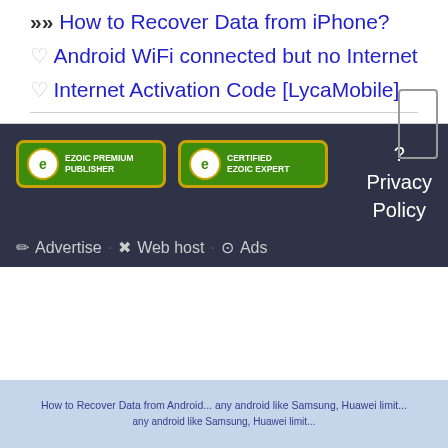>>> How to Recover Data from iPhone?
♡ Android WiFi connected but no Internet
♡ Internet Activation Code [LycaMobile]
[Figure (logo): Ezoic Premium Publisher badge - green badge with yellow border and Ezoic logo]
[Figure (logo): Certified Ezoic Expert badge - green badge with yellow border and Ezoic logo]
? Privacy Policy
✎ Advertise · ✕ Web host · ⊙ Ads
How to Recover Data from Android... any android like Samsung, Huawei limit...